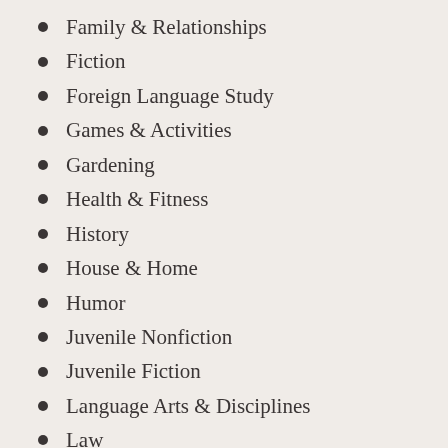Family & Relationships
Fiction
Foreign Language Study
Games & Activities
Gardening
Health & Fitness
History
House & Home
Humor
Juvenile Nonfiction
Juvenile Fiction
Language Arts & Disciplines
Law
Literary Collections
Literary Criticism
Mathematics